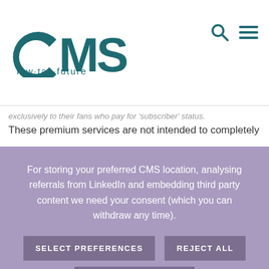[Figure (logo): CMS law·tax·future logo in teal color]
exclusively to their fans who pay for 'subscriber' status. These premium services are not intended to completely
For storing your preferred CMS location, analysing referrals from LinkedIn and embedding third party content we need your consent (which you can withdraw any time).
SELECT PREFERENCES   REJECT ALL   ACCEPT ALL
For more information visit our Cookie Notice.